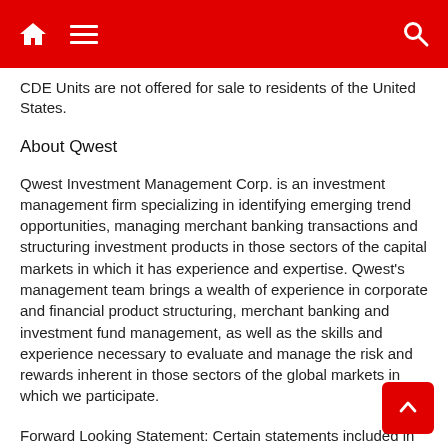Navigation bar with home, menu, and search icons
CDE Units are not offered for sale to residents of the United States.
About Qwest
Qwest Investment Management Corp. is an investment management firm specializing in identifying emerging trend opportunities, managing merchant banking transactions and structuring investment products in those sectors of the capital markets in which it has experience and expertise. Qwest's management team brings a wealth of experience in corporate and financial product structuring, merchant banking and investment fund management, as well as the skills and experience necessary to evaluate and manage the risk and rewards inherent in those sectors of the global markets in which we participate.
Forward Looking Statement: Certain statements included in this news release constitute forward looking statements which reflect Qwest's